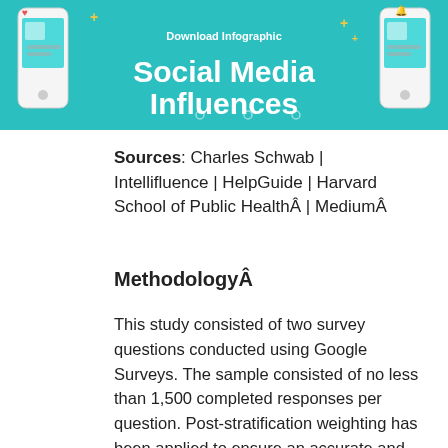[Figure (infographic): Teal/turquoise banner with text 'Download Infographic' and 'Social Media Influences' in large white bold font, with illustrated smartphone graphics on left and right sides.]
Sources: Charles Schwab | Intellifluence | HelpGuide | Harvard School of Public HealthÂ | MediumÂ
MethodologyÂ
This study consisted of two survey questions conducted using Google Surveys. The sample consisted of no less than 1,500 completed responses per question. Post-stratification weighting has been applied to ensure an accurate and reliable representation of the total population. This survey ran during August 2020.Â
The post Under the Influence: 40% of Americans Have Purchased Something Seen on Social Media appeared first on MintLife Blog.